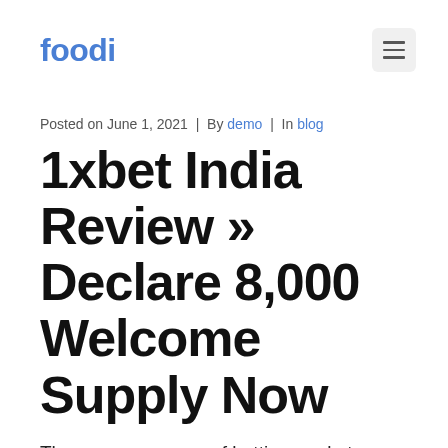foodi
Posted on June 1, 2021  |  By demo  |  In blog
1xbet India Review » Declare 8,000 Welcome Supply Now
The generous array of betting markets adds spice and variety to 1xBet and means punters won't ever be missing in selection. Bookies Bonuses is a comparability web site for online bookmakers and betting presents. We price and evaluation one of the best betting websites…